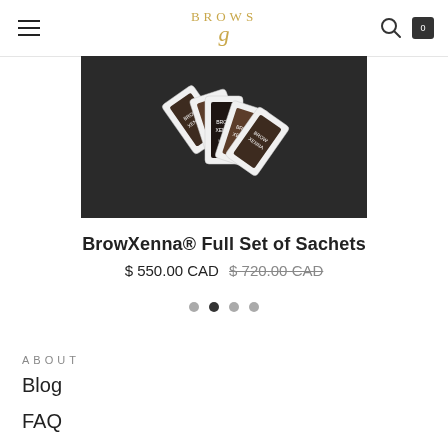BROWS [logo] navigation header with hamburger menu, search icon, and cart icon (0)
[Figure (photo): Product photo of BrowXenna Full Set of Sachets — several brown/dark sachet packets fanned out on a dark background]
BrowXenna® Full Set of Sachets
$ 550.00 CAD  $ 720.00 CAD
[Figure (other): Pagination dots — 4 dots, second one active/filled]
ABOUT
Blog
FAQ